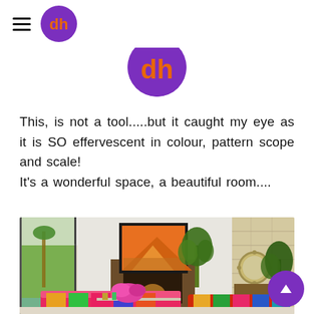[Logo: dh monogram with hamburger menu]
[Figure (logo): Large purple circle logo with orange 'dh' monogram, partially visible at top center]
This, is not a tool.....but it caught my eye as it is SO effervescent in colour, pattern scope and scale! It's a wonderful space, a beautiful room....
[Figure (photo): Interior photograph of a colorful modern living room with vivid pink and multicolored patterned sofas, a large orange artwork above a fireplace, floor-to-ceiling glass windows with garden views, tropical plants, and a round mirror on a stone wall.]